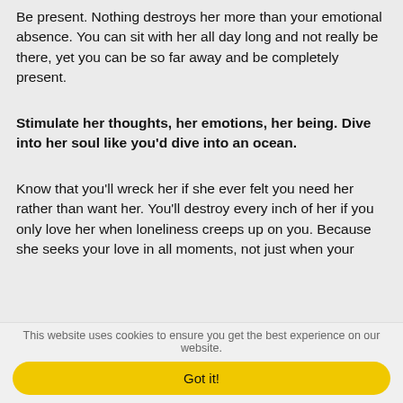Be present. Nothing destroys her more than your emotional absence. You can sit with her all day long and not really be there, yet you can be so far away and be completely present.
Stimulate her thoughts, her emotions, her being. Dive into her soul like you'd dive into an ocean.
Know that you'll wreck her if she ever felt you need her rather than want her. You'll destroy every inch of her if you only love her when loneliness creeps up on you. Because she seeks your love in all moments, not just when your
This website uses cookies to ensure you get the best experience on our website.
Got it!